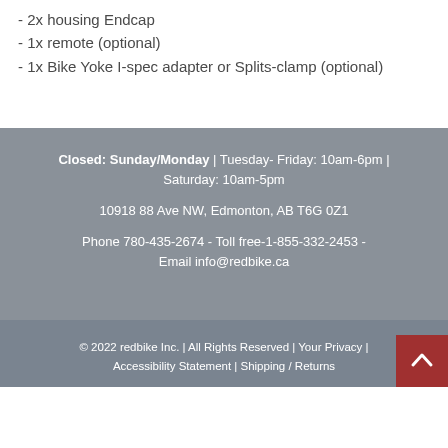- 2x housing Endcap
- 1x remote (optional)
- 1x Bike Yoke I-spec adapter or Splits-clamp (optional)
Closed: Sunday/Monday | Tuesday- Friday: 10am-6pm | Saturday: 10am-5pm
10918 88 Ave NW, Edmonton, AB T6G 0Z1
Phone 780-435-2674 - Toll free-1-855-332-2453 - Email info@redbike.ca
© 2022 redbike Inc. | All Rights Reserved | Your Privacy | Accessibility Statement | Shipping / Returns